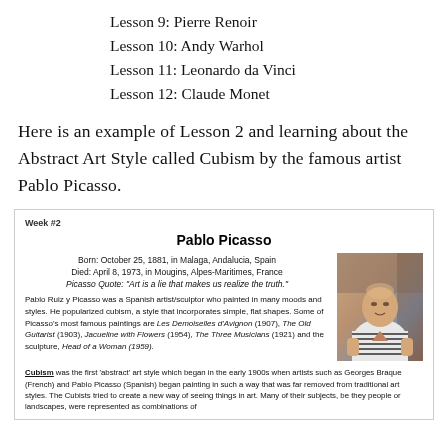Lesson 9: Pierre Renoir
Lesson 10: Andy Warhol
Lesson 11: Leonardo da Vinci
Lesson 12: Claude Monet
Here is an example of Lesson 2 and learning about the Abstract Art Style called Cubism by the famous artist Pablo Picasso.
Week #2
Pablo Picasso
Born: October 25, 1881, in Malaga, Andalucia, Spain
Died: April 8, 1973, in Mougins, Alpes-Maritimes, France
Picasso Quote: "Art is a lie that makes us realize the truth."
Pablo Ruiz y Picasso was a Spanish artist/sculptor who painted in many moods and styles. He popularized cubism, a style that incorporates simple, flat shapes. Some of Picasso’s most famous paintings are Les Demoiselles d’Avignon (1907), The Old Guitarist (1903), Jacueline with Flowers (1954), The Three Musicians (1921) and the sculpture, Head of a Woman (1959).
[Figure (photo): Photo of Pablo Picasso, elderly man in striped shirt seated]
Cubism was the first ‘abstract’ art style which began in the early 1900s when artists such as Georges Braque (French) and Pablo Picasso (Spanish) began painting in such a way that was far removed from traditional art styles. The Cubists tried to create a new way of seeing things in art. Many of their subjects, be they people or landscapes, were represented as combinations of